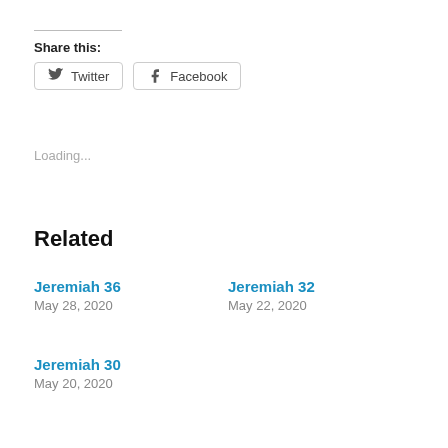Share this:
Twitter  Facebook
Loading...
Related
Jeremiah 36
May 28, 2020
Jeremiah 32
May 22, 2020
Jeremiah 30
May 20, 2020